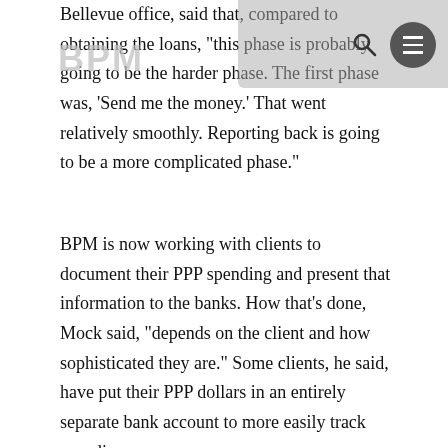BPM
Bellevue office, said that, compared to obtaining the loans, “this phase is probably going to be the harder phase. The first phase was, ‘Send me the money.’ That went relatively smoothly. Reporting back is going to be a more complicated phase.”
BPM is now working with clients to document their PPP spending and present that information to the banks. How that’s done, Mock said, “depends on the client and how sophisticated they are.” Some clients, he said, have put their PPP dollars in an entirely separate bank account to more easily track spending.
Webb said the firm is helping clients develop reporting systems that can be used week after week.